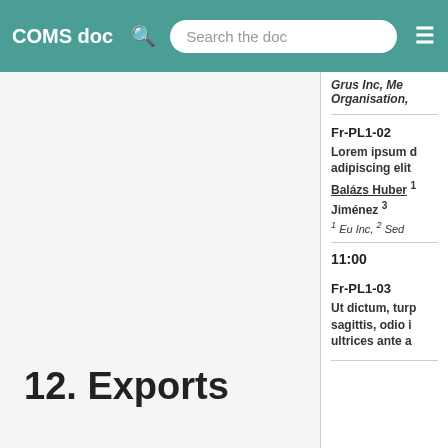COMS doc  Search the doc
Grus Inc, Member Organisation,
Fr-PL1-02
Lorem ipsum d adipiscing elit
Balázs Huber 1 Jiménez 3
1 Eu Inc, 2 Sed
11:00
Fr-PL1-03
Ut dictum, turp sagittis, odio i ultrices ante a
12. Exports